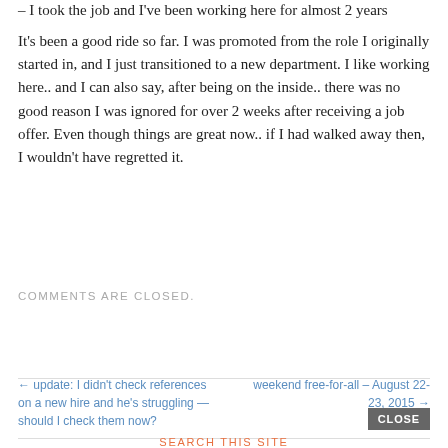– I took the job and I've been working here for almost 2 years
It's been a good ride so far. I was promoted from the role I originally started in, and I just transitioned to a new department. I like working here.. and I can also say, after being on the inside.. there was no good reason I was ignored for over 2 weeks after receiving a job offer. Even though things are great now.. if I had walked away then, I wouldn't have regretted it.
COMMENTS ARE CLOSED.
← update: I didn't check references on a new hire and he's struggling — should I check them now?
weekend free-for-all – August 22-23, 2015 →
CLOSE
SEARCH THIS SITE